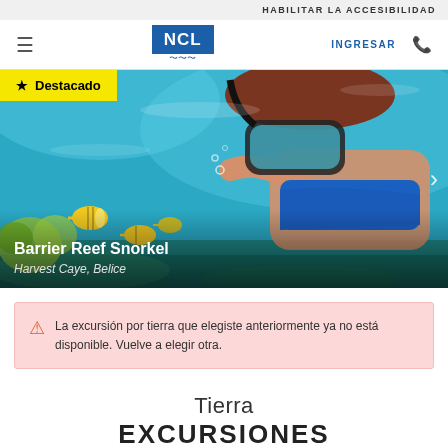HABILITAR LA ACCESIBILIDAD
[Figure (screenshot): NCL navigation bar with hamburger menu, NCL logo, INGRESAR button and phone icon]
[Figure (photo): Underwater snorkeling photo showing a person with diving mask surrounded by tropical fish in clear blue water. Badge reads Destacado (Featured). Title: Barrier Reef Snorkel, Location: Harvest Caye, Belice]
La excursión por tierra que elegiste anteriormente ya no está disponible. Vuelve a elegir otra.
Tierra
EXCURSIONES